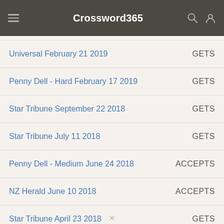Crossword365
Universal February 21 2019 | GETS
Penny Dell - Hard February 17 2019 | GETS
Star Tribune September 22 2018 | GETS
Star Tribune July 11 2018 | GETS
Penny Dell - Medium June 24 2018 | ACCEPTS
NZ Herald June 10 2018 | ACCEPTS
Star Tribune April 23 2018 | GETS
Universal October 8 2017 | GETS
Star Tribune September 22 2017 | GETS